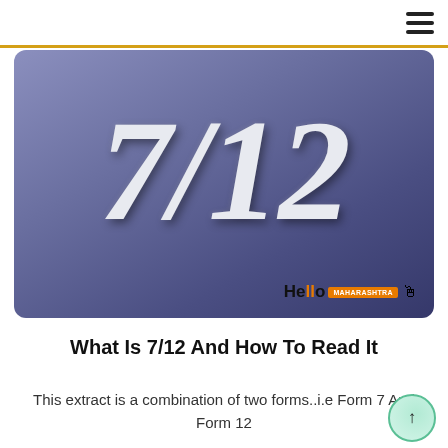Navigation menu (hamburger icon)
[Figure (photo): Dark blue-purple gradient rounded rectangle sign showing '7/12' in large white italic serif font, with 'Hello' logo in bottom-right corner with orange badge]
What Is 7/12 And How To Read It
This extract is a combination of two forms..i.e Form 7 And Form 12